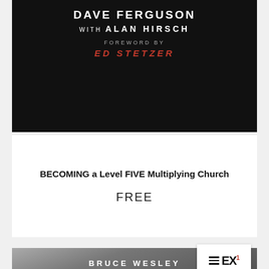[Figure (illustration): Book cover on black background showing author name DAVE FERGUSON WITH ALAN HIRSCH and FOREWORD BY ED STETZER in red italic]
BECOMING a Level FIVE Multiplying Church
FREE
[Figure (illustration): Partial book cover on stormy grey background showing BRUCE WESLEY author name and partial title COLLABORATION with EX logo overlay in top right corner]